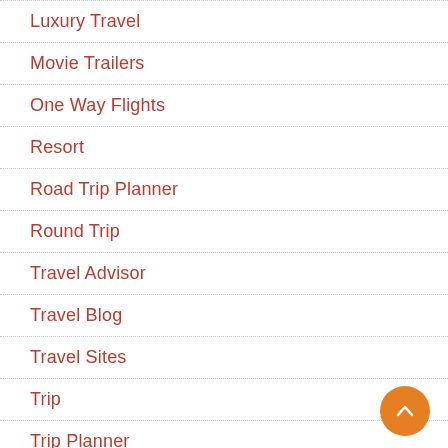Luxury Travel
Movie Trailers
One Way Flights
Resort
Road Trip Planner
Round Trip
Travel Advisor
Travel Blog
Travel Sites
Trip
Trip Planner